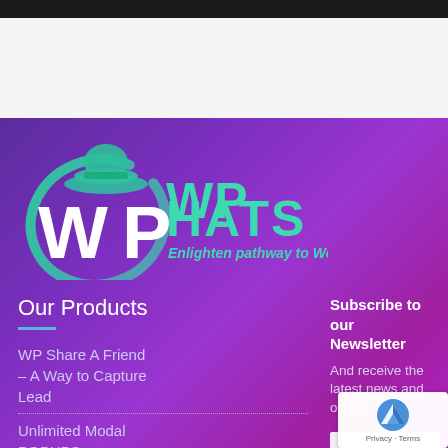[Figure (logo): WPHats logo with cowboy hat icon, circular swoosh in teal/green gradient, white 'WP' text, teal 'WPHATS' text, and tagline 'Enlighten pathway to WordPress']
Our Products
WP Share A Friend – A Way to Capture Lead
Unlimited Modal POPUPS on MouseClick
Subscribe to our Newsletter
And receive the latest news and offers
Enter you